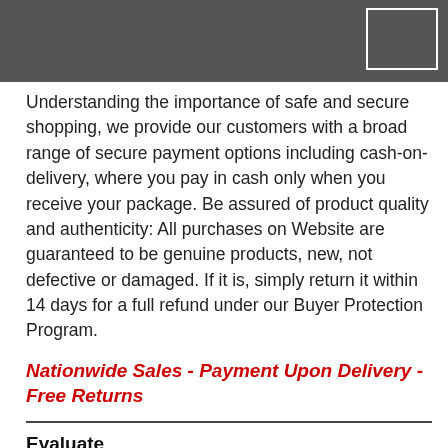Understanding the importance of safe and secure shopping, we provide our customers with a broad range of secure payment options including cash-on-delivery, where you pay in cash only when you receive your package. Be assured of product quality and authenticity: All purchases on Website are guaranteed to be genuine products, new, not defective or damaged. If it is, simply return it within 14 days for a full refund under our Buyer Protection Program.
Nationwide Sales - Payment Upon Delivery - Free Returns
Evaluate
Average rating
5 star   13   Very pleased